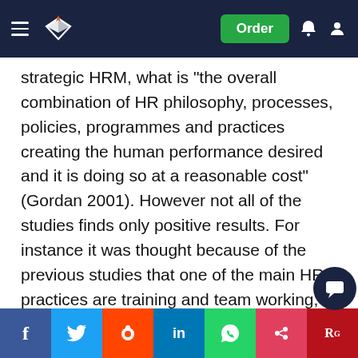Order
strategic HRM, what is "the overall combination of HR philosophy, processes, policies, programmes and practices creating the human performance desired and it is doing so at a reasonable cost" (Gordan 2001). However not all of the studies finds only positive results. For instance it was thought because of the previous studies that one of the main HR practices are training and team working, from the example of NHS. Thus the research does identify a link; it can not be taken for granted that HR really helps to reduce mortality rates. Yes training helps to develop skills, and company expects them to be transferred into work floor, but does it happen straight after employees have been trained. Moreover according the D. Challis, D.Salmon, B.Lawson research done in the Australia and New Zealand 1024 manufacturing sites indicates that organisational and human resource practices do go a long way in personal and individual development from the bottom...